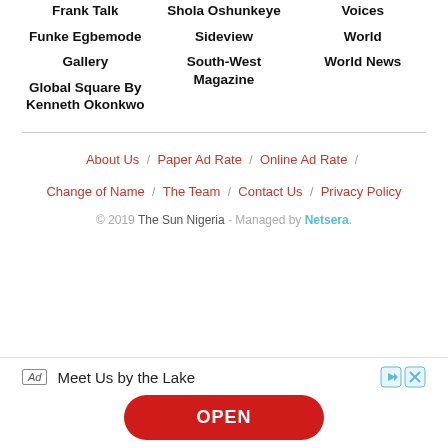Frank Talk
Funke Egbemode
Gallery
Global Square By Kenneth Okonkwo
Shola Oshunkeye
Sideview
South-West Magazine
Voices
World
World News
About Us / Paper Ad Rate / Online Ad Rate / Change of Name / The Team / Contact Us / Privacy Policy
© 2019 The Sun Nigeria - Managed by Netsera.
[Figure (other): Advertisement banner: 'Meet Us by the Lake' with an OPEN button]